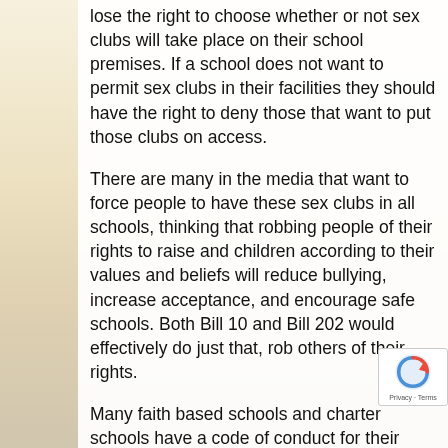lose the right to choose whether or not sex clubs will take place on their school premises. If a school does not want to permit sex clubs in their facilities they should have the right to deny those that want to put those clubs on access.
There are many in the media that want to force people to have these sex clubs in all schools, thinking that robbing people of their rights to raise and children according to their values and beliefs will reduce bullying, increase acceptance, and encourage safe schools. Both Bill 10 and Bill 202 would effectively do just that, rob others of their rights.
Many faith based schools and charter schools have a code of conduct for their students. That code is based on their beliefs, and those beliefs and the expression of those beliefs are Charter